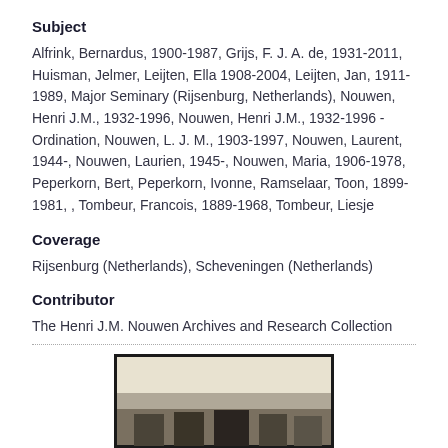Subject
Alfrink, Bernardus, 1900-1987, Grijs, F. J. A. de, 1931-2011, Huisman, Jelmer, Leijten, Ella 1908-2004, Leijten, Jan, 1911-1989, Major Seminary (Rijsenburg, Netherlands), Nouwen, Henri J.M., 1932-1996, Nouwen, Henri J.M., 1932-1996 - Ordination, Nouwen, L. J. M., 1903-1997, Nouwen, Laurent, 1944-, Nouwen, Laurien, 1945-, Nouwen, Maria, 1906-1978, Peperkorn, Bert, Peperkorn, Ivonne, Ramselaar, Toon, 1899-1981, , Tombeur, Francois, 1889-1968, Tombeur, Liesje
Coverage
Rijsenburg (Netherlands), Scheveningen (Netherlands)
Contributor
The Henri J.M. Nouwen Archives and Research Collection
[Figure (photo): Partial view of a photograph showing a group scene, black and white, partially visible at the bottom of the page]